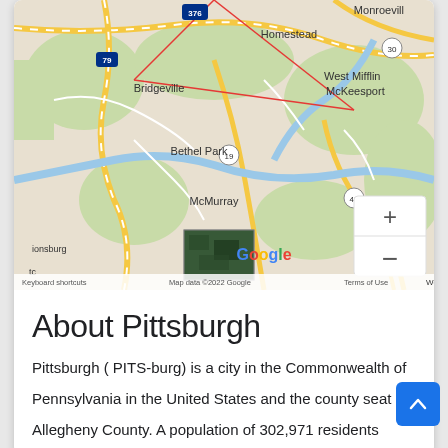[Figure (map): Google Maps screenshot showing Pittsburgh area suburbs including Bridgeville, Bethel Park, McMurray, Homestead, West Mifflin, McKeesport, Monroeville. Shows highway routes 376, 79, 19, 43, 30, 51. Includes zoom controls (+/-), satellite thumbnail, Google logo, and map footer with keyboard shortcuts and copyright info.]
About Pittsburgh
Pittsburgh ( PITS-burg) is a city in the Commonwealth of Pennsylvania in the United States and the county seat of Allegheny County. A population of 302,971 residents